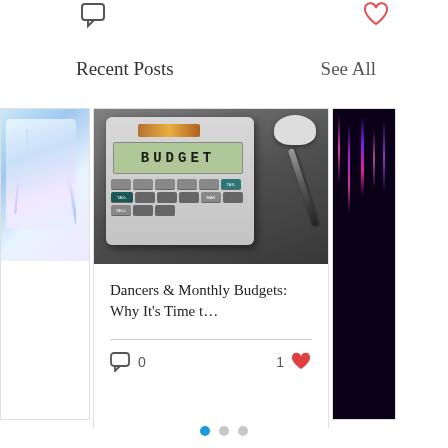[Figure (screenshot): Chat/comment icon (outline) at top left]
[Figure (screenshot): Heart icon (red outline) at top right]
Recent Posts
See All
[Figure (photo): Partial view of a card on the left side showing colorful light burst image]
[Figure (photo): Calculator with BUDGET on screen, pen and mouse in background]
Dancers & Monthly Budgets: Why It's Time t…
[Figure (screenshot): Comment icon with count 0 and heart icon with count 1 at card footer]
[Figure (photo): Partial right card with dark purple background and colored streaks]
[Figure (infographic): Three pagination dots, first one active (blue), two inactive (gray)]